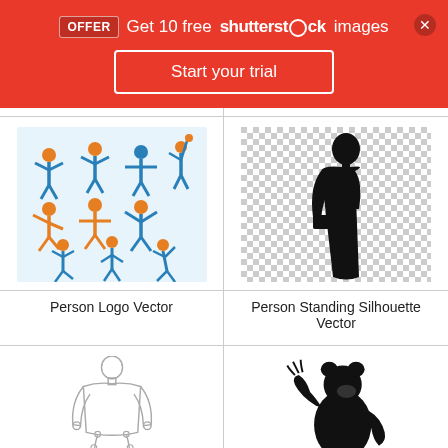OFFER  Get 10 free shutterstock images
Start your trial
[Figure (illustration): Grid of blue and orange stick figure people in various poses (Person Logo Vector)]
Person Logo Vector
[Figure (illustration): Black silhouette of a person standing on checkered transparency background (Person Standing Silhouette Vector)]
Person Standing Silhouette Vector
[Figure (illustration): Outline sketch of a human body figure, front view]
[Figure (illustration): Black silhouette of a bear standing on hind legs]